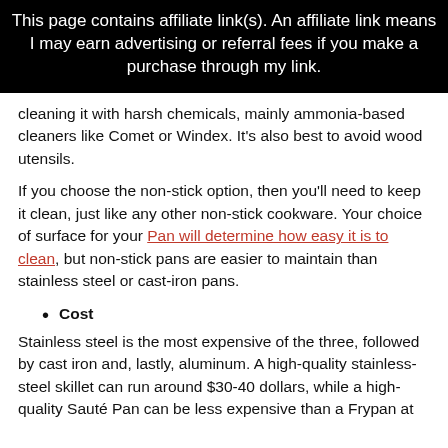This page contains affiliate link(s). An affiliate link means I may earn advertising or referral fees if you make a purchase through my link.
cleaning it with harsh chemicals, mainly ammonia-based cleaners like Comet or Windex. It's also best to avoid wood utensils.
If you choose the non-stick option, then you'll need to keep it clean, just like any other non-stick cookware. Your choice of surface for your Pan will determine how easy it is to clean, but non-stick pans are easier to maintain than stainless steel or cast-iron pans.
Cost
Stainless steel is the most expensive of the three, followed by cast iron and, lastly, aluminum. A high-quality stainless-steel skillet can run around $30-40 dollars, while a high-quality Sauté Pan can be less expensive than a Frypan at